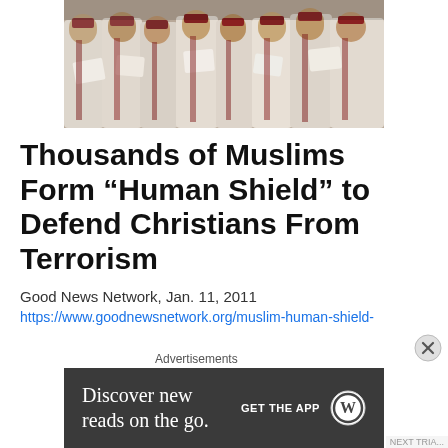[Figure (photo): Group of people wearing robes — clergy or choir members seated in rows, viewed from behind/side, holding papers, wearing white and burgundy robes.]
Thousands of Muslims Form “Human Shield” to Defend Christians From Terrorism
Good News Network, Jan. 11, 2011
https://www.goodnewsnetwork.org/muslim-human-shield-
Advertisements
[Figure (screenshot): Advertisement banner: dark background with text 'Discover new reads on the go.' and 'GET THE APP' with WordPress logo.]